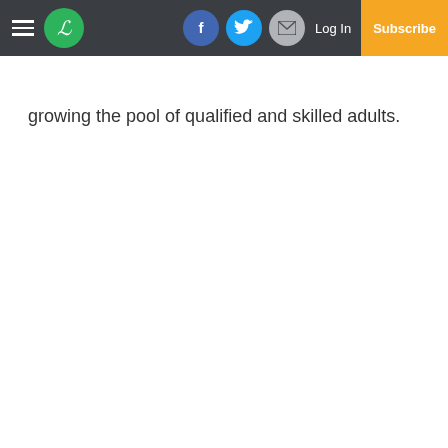Logo navigation bar with hamburger menu, L logo, Facebook, Twitter, Email social icons, Log In, and Subscribe button
growing the pool of qualified and skilled adults.